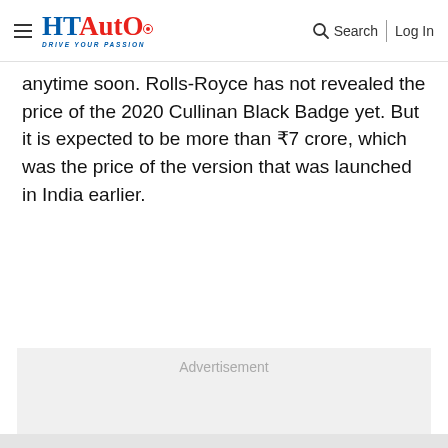HT Auto — Drive Your Passion | Search | Log In
anytime soon. Rolls-Royce has not revealed the price of the 2020 Cullinan Black Badge yet. But it is expected to be more than ₹7 crore, which was the price of the version that was launched in India earlier.
[Figure (other): Advertisement placeholder block with light gray background and 'Advertisement' label text in gray.]